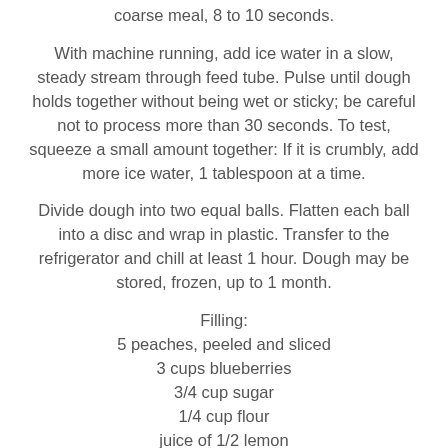coarse meal, 8 to 10 seconds.
With machine running, add ice water in a slow, steady stream through feed tube. Pulse until dough holds together without being wet or sticky; be careful not to process more than 30 seconds. To test, squeeze a small amount together: If it is crumbly, add more ice water, 1 tablespoon at a time.
Divide dough into two equal balls. Flatten each ball into a disc and wrap in plastic. Transfer to the refrigerator and chill at least 1 hour. Dough may be stored, frozen, up to 1 month.
Filling:
5 peaches, peeled and sliced
3 cups blueberries
3/4 cup sugar
1/4 cup flour
juice of 1/2 lemon
1 egg, beaten
Preheat oven to 400 degrees. On a lightly floured surface,